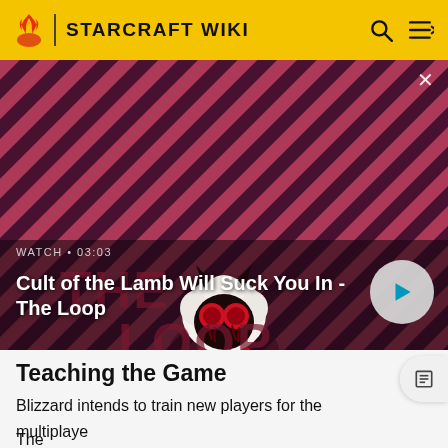STARCRAFT WIKI
[Figure (screenshot): Cult of the Lamb promotional art with a stylized lamb character on a red striped background. WATCH • 03:03 label visible. Title: Cult of the Lamb Will Suck You In - The Loop]
Teaching the Game
Blizzard intends to train new players for the multiplayer game, eventually transforming casual gamers into hardcore gamers.